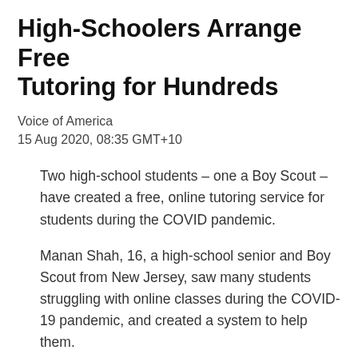High-Schoolers Arrange Free Tutoring for Hundreds
Voice of America
15 Aug 2020, 08:35 GMT+10
Two high-school students – one a Boy Scout – have created a free, online tutoring service for students during the COVID pandemic.
Manan Shah, 16, a high-school senior and Boy Scout from New Jersey, saw many students struggling with online classes during the COVID-19 pandemic, and created a system to help them.